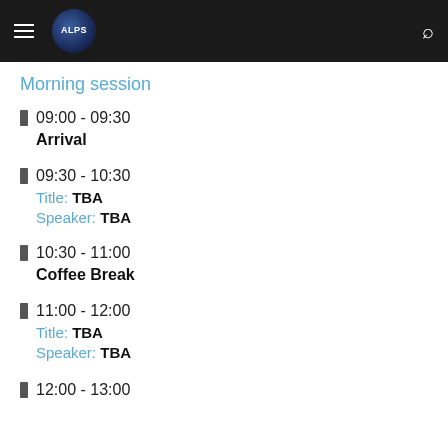ALPS
Morning session
09:00 - 09:30  Arrival
09:30 - 10:30  Title: TBA  Speaker: TBA
10:30 - 11:00  Coffee Break
11:00 - 12:00  Title: TBA  Speaker: TBA
12:00 - 13:00 (partial)